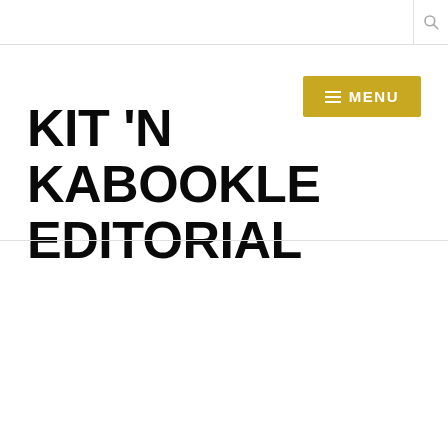KIT 'N KABOOKLE EDITORIAL
≡ MENU